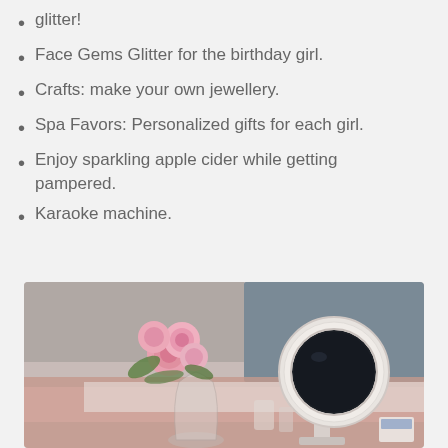glitter!
Face Gems Glitter for the birthday girl.
Crafts: make your own jewellery.
Spa Favors: Personalized gifts for each girl.
Enjoy sparkling apple cider while getting pampered.
Karaoke machine.
[Figure (photo): A spa party table setup with pink roses in a glass vase and a round lighted makeup mirror on a pink tablecloth.]